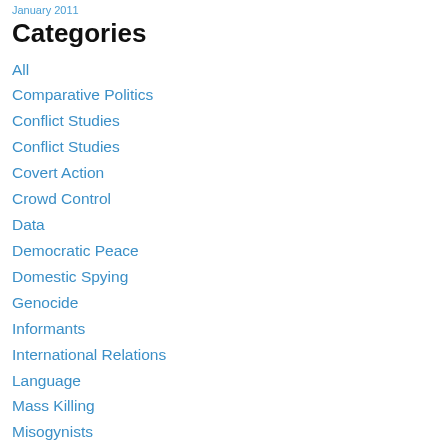January 2011
Categories
All
Comparative Politics
Conflict Studies
Conflict Studies
Covert Action
Crowd Control
Data
Democratic Peace
Domestic Spying
Genocide
Informants
International Relations
Language
Mass Killing
Misogynists
Music
Never Again
Non-lethal Weaponry
Northern Ireland